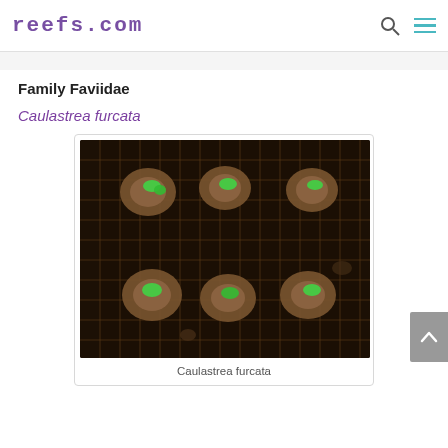reefs.com
Family Faviidae
Caulastrea furcata
[Figure (photo): Top-down photograph of Caulastrea furcata coral frags mounted on a wire grid rack, showing approximately 6 coral pieces with bright green centers (polyps) on brownish coral skeletons against a dark metal mesh background.]
Caulastrea furcata